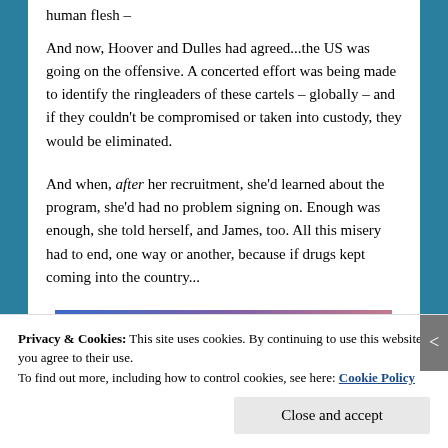human flesh –
And now, Hoover and Dulles had agreed...the US was going on the offensive. A concerted effort was being made to identify the ringleaders of these cartels – globally – and if they couldn't be compromised or taken into custody, they would be eliminated.
And when, after her recruitment, she'd learned about the program, she'd had no problem signing on. Enough was enough, she told herself, and James, too. All this misery had to end, one way or another, because if drugs kept coming into the country...
[Figure (illustration): Gradient bar image transitioning from blue to purple to pink/mauve]
Privacy & Cookies: This site uses cookies. By continuing to use this website, you agree to their use.
To find out more, including how to control cookies, see here: Cookie Policy
Close and accept